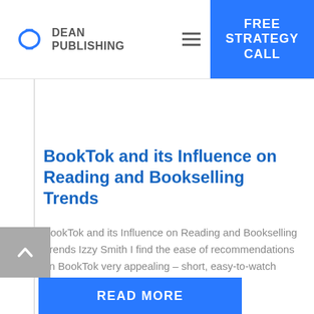DEAN PUBLISHING
FREE STRATEGY CALL
BookTok and its Influence on Reading and Bookselling Trends
BookTok and its Influence on Reading and Bookselling Trends Izzy Smith I find the ease of recommendations on BookTok very appealing – short, easy-to-watch videos on my For You Page...
READ MORE